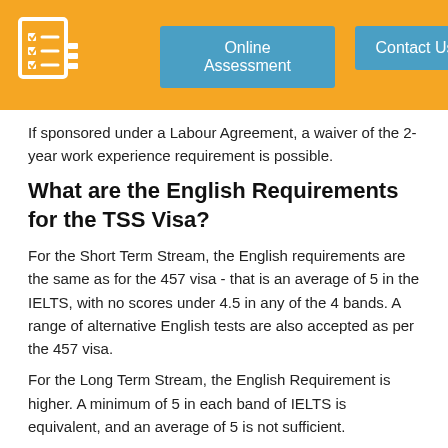Online Assessment | Contact Us
If sponsored under a Labour Agreement, a waiver of the 2-year work experience requirement is possible.
What are the English Requirements for the TSS Visa?
For the Short Term Stream, the English requirements are the same as for the 457 visa - that is an average of 5 in the IELTS, with no scores under 4.5 in any of the 4 bands. A range of alternative English tests are also accepted as per the 457 visa.
For the Long Term Stream, the English Requirement is higher. A minimum of 5 in each band of IELTS is equivalent, and an average of 5 is not sufficient.
Similar to the 457 visa, exemptions from English language testing are available for:
Passport holders from the UK, Ireland, USA, Canada